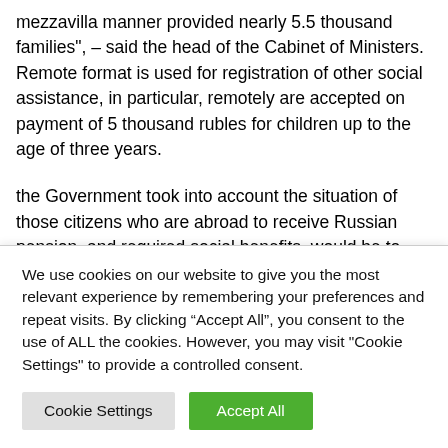mezzavilla manner provided nearly 5.5 thousand families", – said the head of the Cabinet of Ministers. Remote format is used for registration of other social assistance, in particular, remotely are accepted on payment of 5 thousand rubles for children up to the age of three years.
the Government took into account the situation of those citizens who are abroad to receive Russian pension, and required social benefits, would be to confirm payment for the next year, but because of all the restrictions adopted in the
We use cookies on our website to give you the most relevant experience by remembering your preferences and repeat visits. By clicking “Accept All”, you consent to the use of ALL the cookies. However, you may visit "Cookie Settings" to provide a controlled consent.